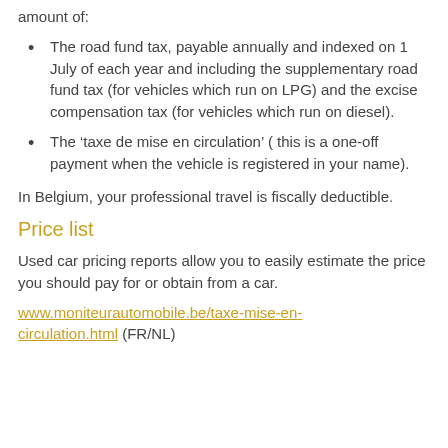amount of:
The road fund tax, payable annually and indexed on 1 July of each year and including the supplementary road fund tax (for vehicles which run on LPG) and the excise compensation tax (for vehicles which run on diesel).
The ‘taxe de mise en circulation’ ( this is a one-off payment when the vehicle is registered in your name).
In Belgium, your professional travel is fiscally deductible.
Price list
Used car pricing reports allow you to easily estimate the price you should pay for or obtain from a car.
www.moniteurautomobile.be/taxe-mise-en-circulation.html (FR/NL)